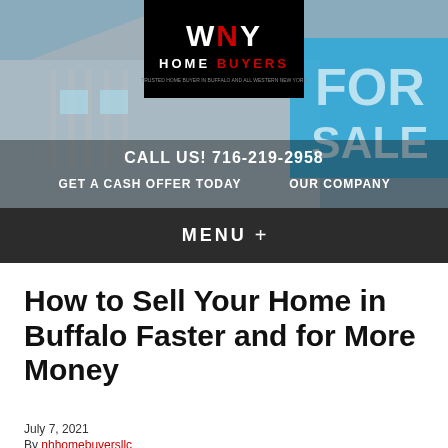[Figure (screenshot): Website header with house background image, WNY Home Buyers logo in black box, blue FOR SALE sign on right side]
CALL US! 716-219-2958
GET A CASH OFFER TODAY   OUR COMPANY
MENU +
How to Sell Your Home in Buffalo Faster and for More Money
July 7, 2021
By nhhomebuyersllc